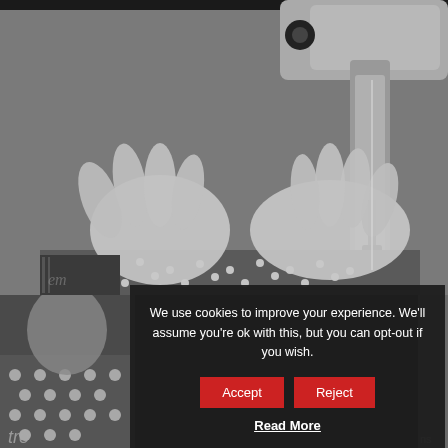[Figure (photo): Black and white photograph of hands guiding polka-dot fabric through a sewing machine needle area]
[Figure (photo): Black and white photograph — bottom left, partial view of person sewing, text 'tro' visible]
We use cookies to improve your experience. We'll assume you're ok with this, but you can opt-out if you wish.
Accept
Reject
Read More